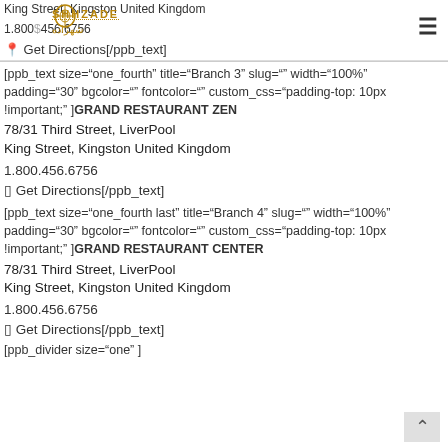King Street, Kingston United Kingdom
1.800.456.6756
SHHZADE
شهزاده
Get Directions[/ppb_text]
[ppb_text size="one_fourth" title="Branch 3" slug="" width="100%" padding="30" bgcolor="" fontcolor="" custom_css="padding-top: 10px !important;" ]GRAND RESTAURANT ZEN
78/31 Third Street, LiverPool
King Street, Kingston United Kingdom
1.800.456.6756
Get Directions[/ppb_text]
[ppb_text size="one_fourth last" title="Branch 4" slug="" width="100%" padding="30" bgcolor="" fontcolor="" custom_css="padding-top: 10px !important;" ]GRAND RESTAURANT CENTER
78/31 Third Street, LiverPool
King Street, Kingston United Kingdom
1.800.456.6756
Get Directions[/ppb_text]
[ppb_divider size="one" ]